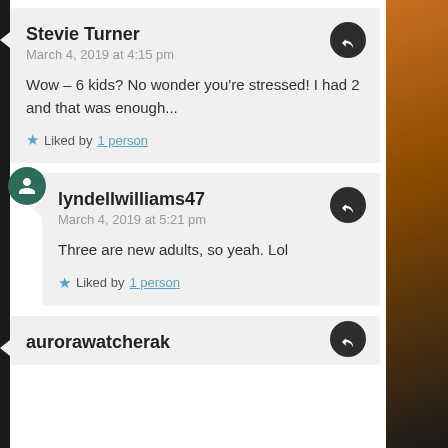Stevie Turner
March 4, 2019 at 4:15 pm

Wow – 6 kids? No wonder you're stressed! I had 2 and that was enough...

★ Liked by 1 person
lyndellwilliams47
March 4, 2019 at 5:21 pm

Three are new adults, so yeah. Lol

★ Liked by 1 person
aurorawatcherak